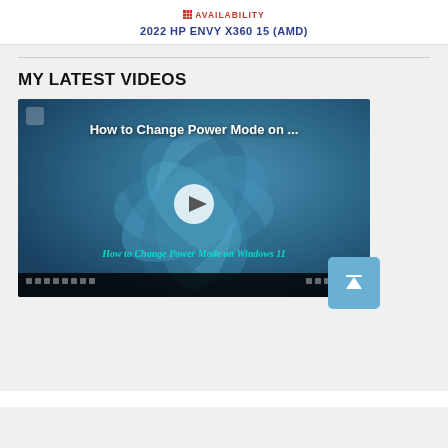AVAILABILITY
2022 HP ENVY X360 15 (AMD)
MY LATEST VIDEOS
[Figure (screenshot): Video thumbnail showing 'How to Change Power Mode on Windows 11' with a play button overlay and Windows 11 desktop wallpaper background]